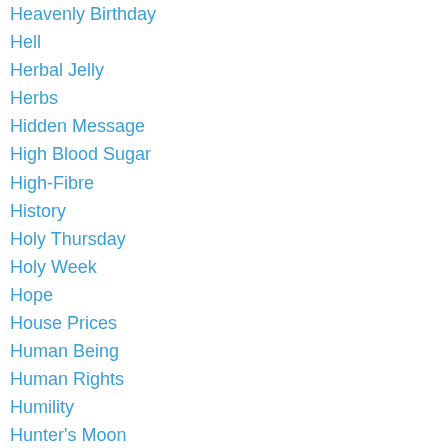Heavenly Birthday
Hell
Herbal Jelly
Herbs
Hidden Message
High Blood Sugar
High-Fibre
History
Holy Thursday
Holy Week
Hope
House Prices
Human Being
Human Rights
Humility
Hunter's Moon
Hyperglycemia
Hyper-inflation
Hypnosis
Ibs
Ignorance